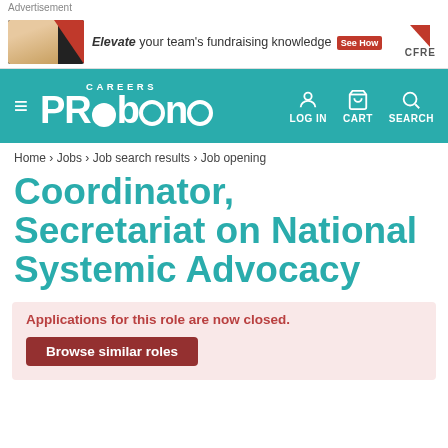Advertisement
[Figure (advertisement): CFRE advertisement banner: photo of people, italic text 'Elevate your team's fundraising knowledge', red 'See How' button, CFRE logo]
[Figure (logo): Pro Bono Careers navigation bar with hamburger menu, PRObono CAREERS logo in white on teal background, LOG IN, CART, SEARCH icons]
Home › Jobs › Job search results › Job opening
Coordinator, Secretariat on National Systemic Advocacy
Applications for this role are now closed.
Browse similar roles